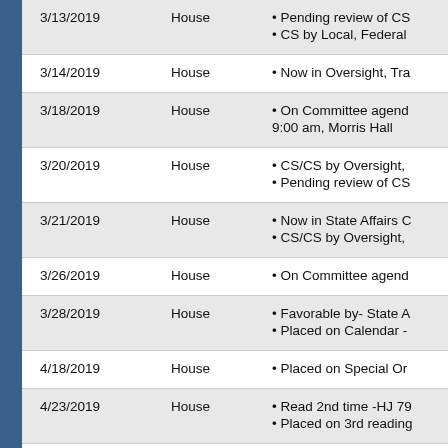| Date | Chamber | Action |
| --- | --- | --- |
| 3/13/2019 | House | • Pending review of CS
• CS by Local, Federal |
| 3/14/2019 | House | • Now in Oversight, Tra |
| 3/18/2019 | House | • On Committee agend
9:00 am, Morris Hall |
| 3/20/2019 | House | • CS/CS by Oversight,
• Pending review of CS |
| 3/21/2019 | House | • Now in State Affairs C
• CS/CS by Oversight, |
| 3/26/2019 | House | • On Committee agend |
| 3/28/2019 | House | • Favorable by- State A
• Placed on Calendar - |
| 4/18/2019 | House | • Placed on Special Or |
| 4/23/2019 | House | • Read 2nd time -HJ 79
• Placed on 3rd reading |
| 4/24/2019 | House | • Read 3rd time -HJ 80 |